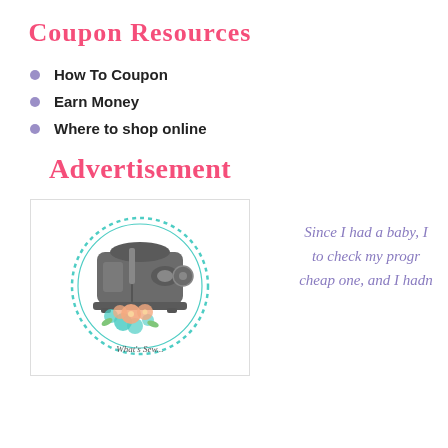Coupon Resources
How To Coupon
Earn Money
Where to shop online
Advertisement
[Figure (illustration): Vintage sewing machine with floral decoration inside a dotted teal circle, with cursive text below]
Since I had a baby, I to check my progr cheap one, and I hadn